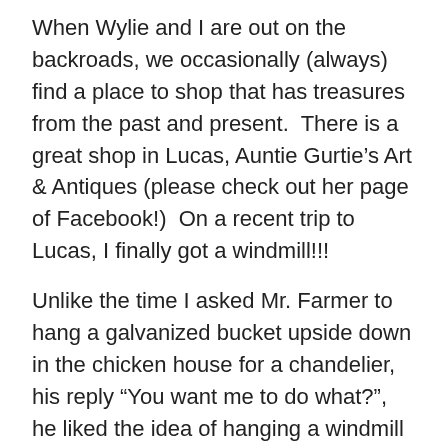When Wylie and I are out on the backroads, we occasionally (always) find a place to shop that has treasures from the past and present.  There is a great shop in Lucas, Auntie Gurtie’s Art & Antiques (please check out her page of Facebook!)  On a recent trip to Lucas, I finally got a windmill!!!
Unlike the time I asked Mr. Farmer to hang a galvanized bucket upside down in the chicken house for a chandelier, his reply “You want me to do what?”,  he liked the idea of hanging a windmill wheel on the outside wall of the house.  If you follow Pinterest you have probably seen these half wheels, they are very popular in decorating.
Mounting the half 6’ wheel required some thought on how to secure it so it wouldn’t rattle in the wind.  Mr. Farmer designed some brackets to hold it securely.